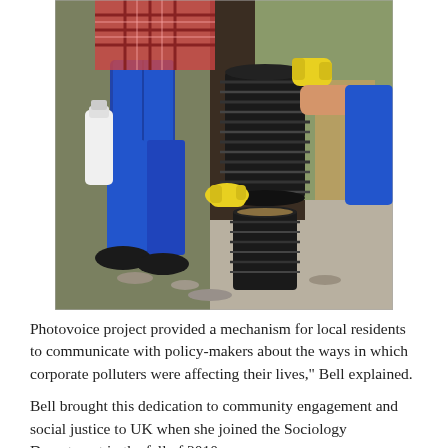[Figure (photo): Two people handling black cylindrical corrugated tubing/pipe sections outdoors. One person wearing blue jeans and dark shoes holds a white bottle; another person wearing yellow rubber gloves holds a black ribbed cylinder above another cylinder section placed on the ground. Background shows grass, gravel, and a wooden door.]
Photovoice project provided a mechanism for local residents to communicate with policy-makers about the ways in which corporate polluters were affecting their lives," Bell explained.
Bell brought this dedication to community engagement and social justice to UK when she joined the Sociology Department in the fall of 2010.